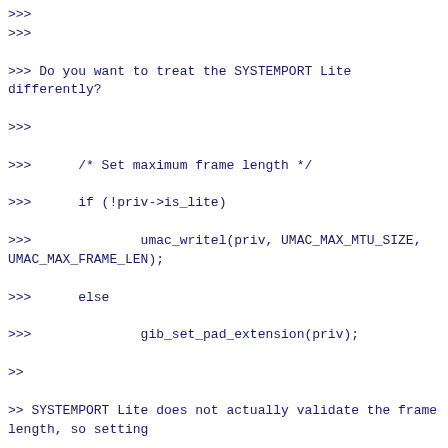>>>>
>>>
>>> Do you want to treat the SYSTEMPORT Lite differently?
>>>
>>>      /* Set maximum frame length */
>>>      if (!priv->is_lite)
>>>              umac_writel(priv, UMAC_MAX_MTU_SIZE, UMAC_MAX_FRAME_LEN);
>>>      else
>>>              gib_set_pad_extension(priv);
>>
>> SYSTEMPORT Lite does not actually validate the frame length, so setting
>> a maximum number to the buffer size we allocate could work, but I don't
>> see a reason to differentiate the two types of MACs here.
>
> And if the Lite doesn't validate the frame length, then shouldn't it
> report a max_mtu equal to the max_mtu of the attached DSA switch, plus
> the Broadcom tag length? Doesn't the b53 driver support jumbo frames?

And how would I do that without create a horrible layering violation in
either the systemport driver or DSA? Yes the b53 driver supports jumbo